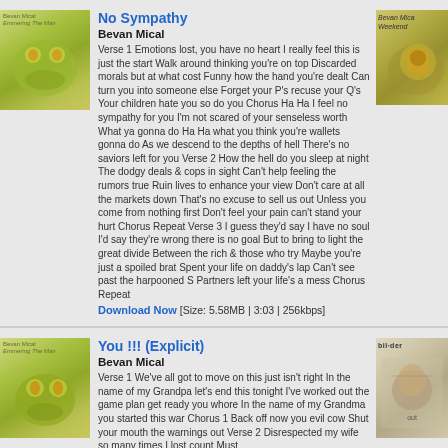[Figure (photo): Album art showing a frog on green background - left thumbnail for No Sympathy]
No Sympathy
Bevan Mical
Verse 1 Emotions lost, you have no heart I really feel this is just the start Walk around thinking you're on top Discarded morals but at what cost Funny how the hand you're dealt Can turn you into someone else Forget your P's recuse your Q's Your children hate you so do you Chorus Ha Ha I feel no sympathy for you I'm not scared of your senseless worth What ya gonna do Ha Ha what you think you're wallets gonna do As we descend to the depths of hell There's no saviors left for you Verse 2 How the hell do you sleep at night The dodgy deals & cops in sight Can't help feeling the rumors true Ruin lives to enhance your view Don't care at all the markets down That's no excuse to sell us out Unless you come from nothing first Don't feel your pain can't stand your hurt Chorus Repeat Verse 3 I guess they'd say I have no soul I'd say they're wrong there is no goal But to bring to light the great divide Between the rich & those who try Maybe you're just a spoiled brat Spent your life on daddy's lap Can't see past the harpooned S Partners left your life's a mess Chorus Repeat
Download Now [Size: 5.58MB | 3:03 | 256kbps]
[Figure (photo): Album art - Bevan Mical Weekend - frog close-up on right side]
[Figure (photo): Album art showing a frog on green background - left thumbnail for You !!! (Explicit)]
You !!! (Explicit)
Bevan Mical
Verse 1 We've all got to move on this just isn't right In the name of my Grandpa let's end this tonight I've worked out the game plan get ready you whore In the name of my Grandma you started this war Chorus 1 Back off now you evil cow Shut your mouth the warnings out Verse 2 Disrespected my wife so many times I lost count Must
[Figure (photo): Album art - bilder - illustration style artwork on right side]